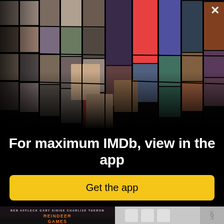[Figure (illustration): IMDb app promotion image showing a collage of celebrity headshots and movie/TV posters arranged in a 3D perspective fan/wall layout on a black background. A white X close button is in the top right corner.]
For maximum IMDb, view in the app
Get the app
[Figure (photo): Bottom strip showing partial view of Reindeer Games movie poster (Ben Affleck, Gary Sinise, Charlize Theron) on the left and a light gray panel with IMDb logo elements on the right.]